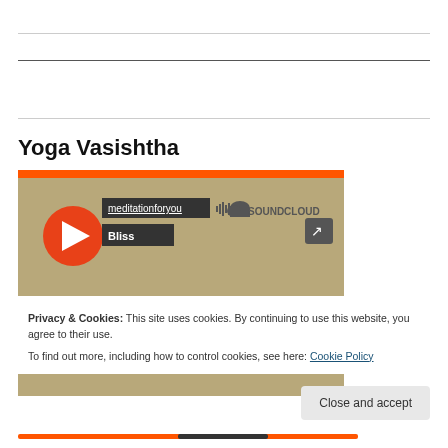Yoga Vasishtha
[Figure (screenshot): SoundCloud embedded audio player showing 'meditationforyou' artist and 'Bliss' track title, with orange play button and SoundCloud logo on a tan/khaki background]
Privacy & Cookies: This site uses cookies. By continuing to use this website, you agree to their use.
To find out more, including how to control cookies, see here: Cookie Policy
Close and accept